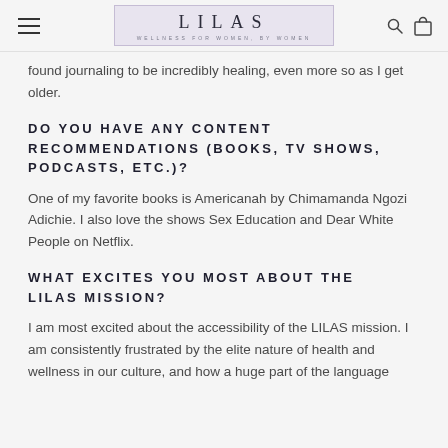LILAS — WELLNESS FOR WOMEN, BY WOMEN
found journaling to be incredibly healing, even more so as I get older.
DO YOU HAVE ANY CONTENT RECOMMENDATIONS (BOOKS, TV SHOWS, PODCASTS, ETC.)?
One of my favorite books is Americanah by Chimamanda Ngozi Adichie. I also love the shows Sex Education and Dear White People on Netflix.
WHAT EXCITES YOU MOST ABOUT THE LILAS MISSION?
I am most excited about the accessibility of the LILAS mission. I am consistently frustrated by the elite nature of health and wellness in our culture, and how a huge part of the language